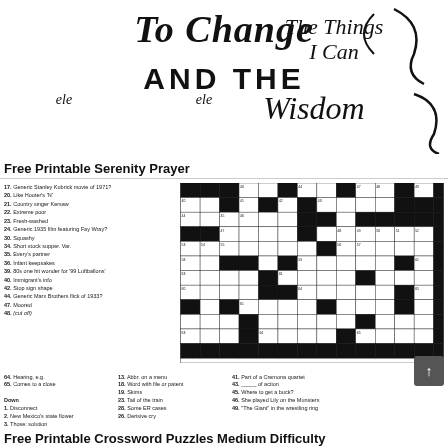[Figure (illustration): Decorative text image with cursive and serif fonts reading 'To Change The Things I Can AND THE Wisdom' - partial view of Serenity Prayer decorative print]
Free Printable Serenity Prayer
[Figure (other): Crossword puzzle with grid and clues. Clues visible include: 17. Generic Stanley Kubrick movie of 1971? 20. Like Hooter's 'N' 21. Country singer Kersaw 22. Extreme poor 23. Fresh-washed 24. Generic 1935 film featuring Fay Wray? 30. Squashy 34. Short stock supper Var. 35. Every's partner 36. Infant keepsakes 39. 80s one hit wonder for '99 Luftballons' 40. Immigrant's info 42. Stop sign shape 44. Generic Marx Brothers flick of 1933? 47. Moored 64. Hearing, e.g. 65. Comes to a close Down: 1. Disconnect 2. New Mexico's state flower 3. Those: solution. 13. Abbr. on a menu 18. Word with file or patent 19. Skims 23. Tail of the train 28. Some ER cases 26. Derisive cry 41. Part of a Cremona quartet 43. ___ of action 45. Where to get a buck? 46. She played Lily on the Munsters 49. 'The Giant' in the wrestling ring]
Free Printable Crossword Puzzles Medium Difficulty
[Figure (illustration): Partial view of another decorative or puzzle image at bottom of page]